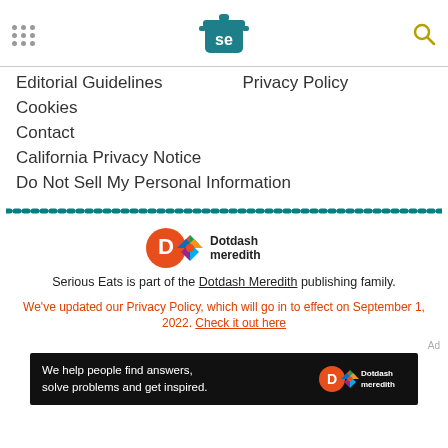Serious Eats header with hamburger menu, SE logo, and search icon
Editorial Guidelines    Privacy Policy
Cookies
Contact
California Privacy Notice
Do Not Sell My Personal Information
[Figure (illustration): Dotted teal horizontal divider line]
[Figure (logo): Dotdash Meredith logo with orange D, colorful diamond pattern, and text]
Serious Eats is part of the Dotdash Meredith publishing family.
We've updated our Privacy Policy, which will go in to effect on September 1, 2022. Check it out here
Ad
[Figure (illustration): Dark ad banner: We help people find answers, solve problems and get inspired. Dotdash Meredith logo.]